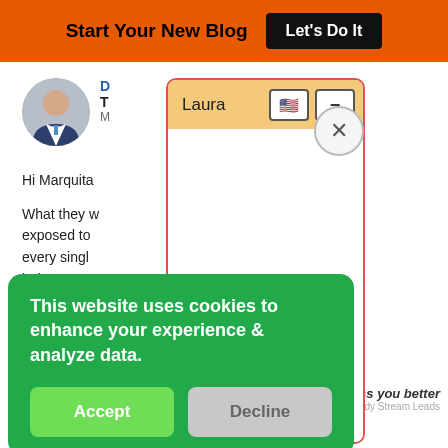Start Your New Blog  Let's Do It
[Figure (screenshot): Website screenshot showing a blog page with an author avatar, partial article text starting with 'Hi Marquita' and 'What they w...', overlaid by a chat widget popup named 'Laura' with orange/amber header, US flag icon, minimize button, and close circle button. In the lower portion a green cookie consent banner reads 'This website uses cookies to enhance your experience & analyze data.' with Accept and Decline buttons. Bottom shows 'ness you better' text and 'Powered By Steady Stream Leads'.]